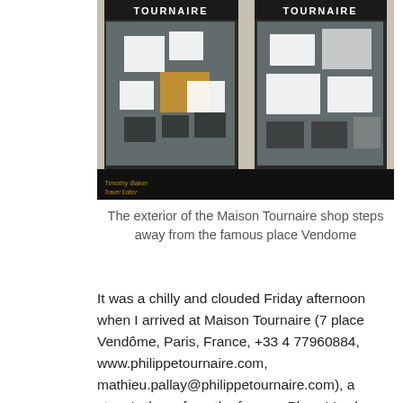[Figure (photo): Exterior of Maison Tournaire shop facade with two large display windows showing jewelry and watches, dark storefront with TOURNAIRE signage above each window, watermark 'Timothy Baker Travel Editor' at bottom left]
The exterior of the Maison Tournaire shop steps away from the famous place Vendome
It was a chilly and clouded Friday afternoon when I arrived at Maison Tournaire (7 place Vendôme, Paris, France, +33 4 77960884, www.philippetournaire.com, mathieu.pallay@philippetournaire.com), a stone's throw from the famous Place Vendome in Paris, France for a small group